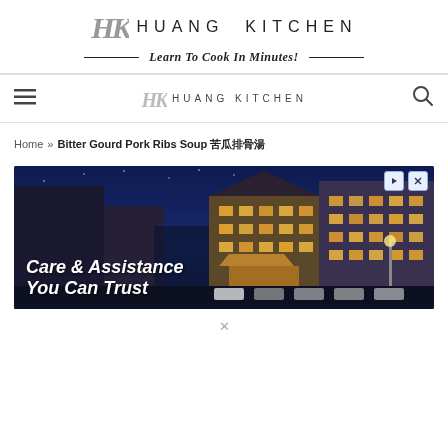HK HUANG KITCHEN
Learn To Cook In Minutes!
≡ HK HUANG KITCHEN 🔍
Home » Bitter Gourd Pork Ribs Soup 苦瓜排骨湯
[Figure (photo): Advertisement banner showing a multi-story residential or assisted living building photographed at dusk/night with interior lights on, with text overlay reading 'Care & Assistance You Can Trust']